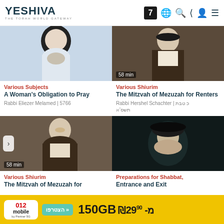YESHIVA | THE TORAH WORLD GATEWAY | Navigation icons: 7, globe, search, share, user, menu
[Figure (screenshot): Thumbnail of rabbi with black hat and white beard against light blue background]
[Figure (screenshot): Thumbnail of rabbi in dark suit with beard, duration badge '58 min']
Various Subjects
A Woman's Obligation to Pray
Rabbi Eliezer Melamed | 5766
Various Shiurim
The Mitzvah of Mezuzah for Renters
Rabbi Hershel Schachter | כ טבת תשס'א
[Figure (screenshot): Thumbnail of rabbi in dark suit with glasses, duration badge '58 min', next button visible]
[Figure (screenshot): Thumbnail of rabbi with black hat in dark background]
Various Shiurim
The Mitzvah of Mezuzah for
Preparations for Shabbat, Entrance and Exit
[Figure (screenshot): Advertisement banner: 012 mobile by Partner 5G - הצטרפו >> - ₪29.90 מ- 150GB]